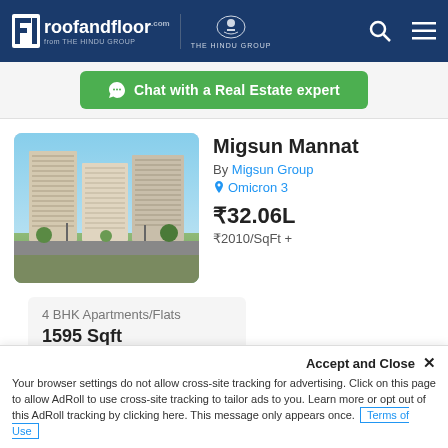roofandfloor.com — THE HINDU GROUP | THE HINDU GROUP
☎ Chat with a Real Estate expert
Migsun Mannat
By Migsun Group
Omicron 3
₹32.06L
₹2010/SqFt +
[Figure (photo): Exterior view of Migsun Mannat residential towers with landscaping]
4 BHK Apartments/Flats
1595 Sqft
Accept and Close ✕
Your browser settings do not allow cross-site tracking for advertising. Click on this page to allow AdRoll to use cross-site tracking to tailor ads to you. Learn more or opt out of this AdRoll tracking by clicking here. This message only appears once. | Terms of Use |